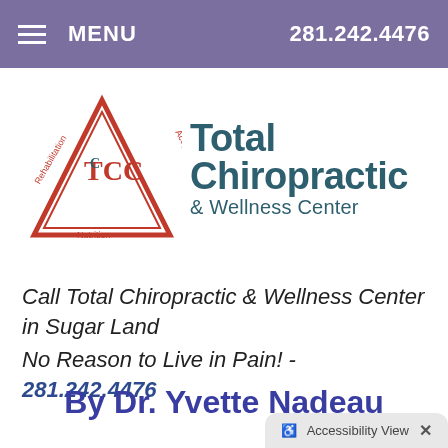MENU  281.242.4476
[Figure (logo): Total Chiropractic & Wellness Center logo with triangle TCC emblem showing Rehabilitation, Acupuncture, Nutrition text around a red triangle with TCC initials]
Call Total Chiropractic & Wellness Center in Sugar Land
No Reason to Live in Pain! - 281.242.4476
By Dr. Yvette Nadeau